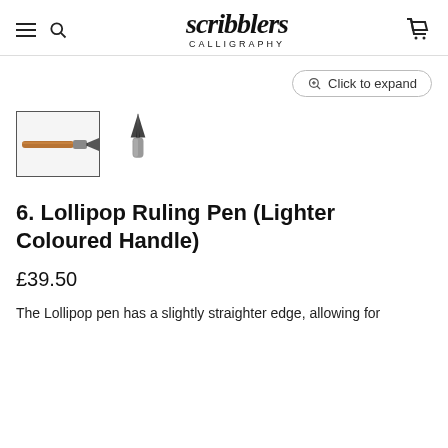scribblers CALLIGRAPHY
[Figure (screenshot): Click to expand button with magnifier icon]
[Figure (photo): Two thumbnail images: a ruling pen with wooden handle (selected, with border), and a close-up of the pen nib]
6. Lollipop Ruling Pen (Lighter Coloured Handle)
£39.50
The Lollipop pen has a slightly straighter edge, allowing for